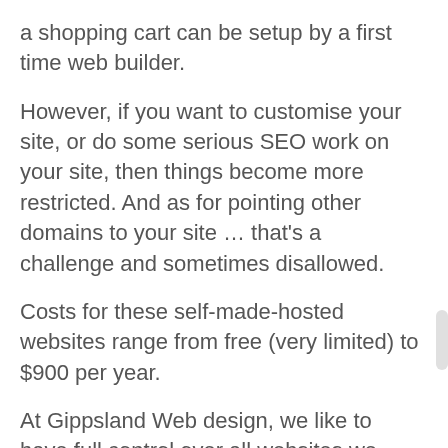a shopping cart can be setup by a first time web builder.
However, if you want to customise your site, or do some serious SEO work on your site, then things become more restricted. And as for pointing other domains to your site … that's a challenge and sometimes disallowed.
Costs for these self-made-hosted websites range from free (very limited) to $900 per year.
At Gippsland Web design, we like to have full control over all websites we create. If our clients want to point multiple domain names to their sites, or have us perform intense SEO strategies, then we like to have full control and access to the site.